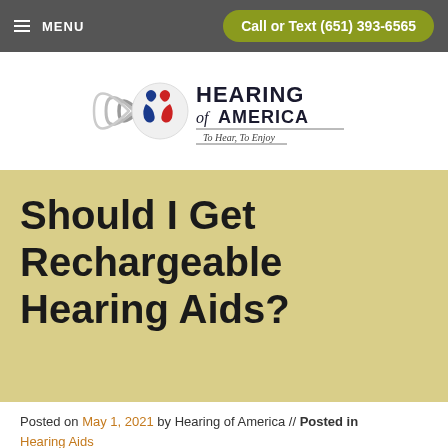≡ MENU   Call or Text (651) 393-6565
[Figure (logo): Hearing of America logo with sound wave graphic and text 'To Hear, To Enjoy']
Should I Get Rechargeable Hearing Aids?
Posted on May 1, 2021 by Hearing of America // Posted in Hearing Aids